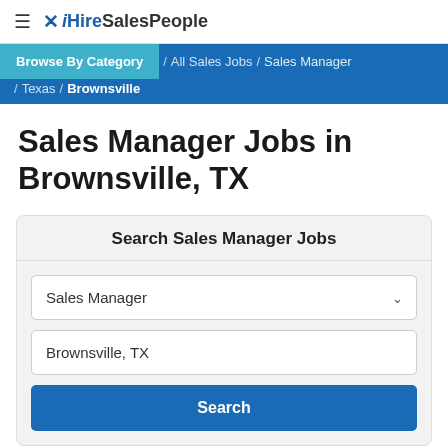≡ ✗ iHireSalesPeople
Browse By Category / All Sales Jobs / Sales Manager / Texas / Brownsville
Sales Manager Jobs in Brownsville, TX
Search Sales Manager Jobs
Sales Manager (dropdown)
Brownsville, TX (input)
Search (button)